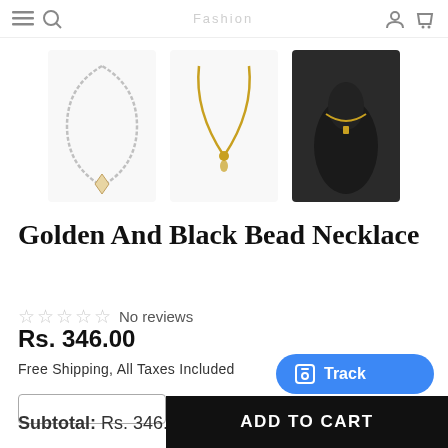Menu | Search | [Logo/brand] | Account | Cart
[Figure (photo): Three thumbnail images of necklaces: a silver chain with pendant, a gold chain necklace, and a black bust with gold necklace]
Golden And Black Bead Necklace
☆☆☆☆☆ No reviews
Rs. 346.00
Free Shipping, All Taxes Included
Subtotal: Rs. 346.00
Track
ADD TO CART